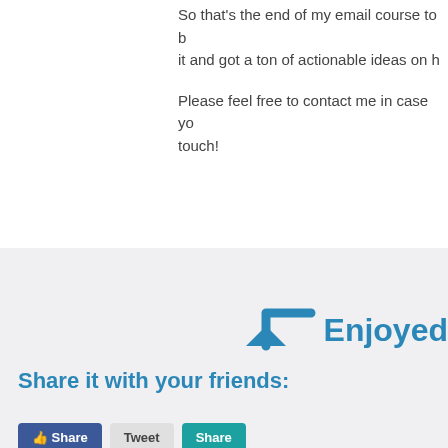So that's the end of my email course to b it and got a ton of actionable ideas on h
Please feel free to contact me in case you touch!
[Figure (illustration): Arrow icon pointing lower-left in steel blue color]
Enjoyed
Share it with your friends:
[Figure (other): Social share buttons: blue Facebook button, gray button, teal button]